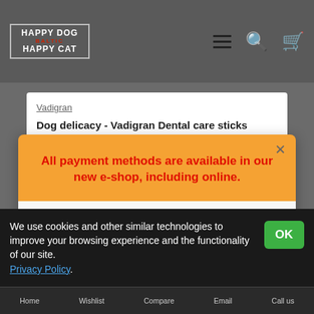[Figure (logo): Happy Dog Happy Cat Baltic logo in white with decorative border]
Vadigran
Dog delicacy - Vadigran Dental care sticks "M"/12cm
from 0.72€
All payment methods are available in our new e-shop, including online.
Don't show again.
We use cookies and other similar technologies to improve your browsing experience and the functionality of our site. Privacy Policy.
Home   Wishlist   Compare   Email   Call us